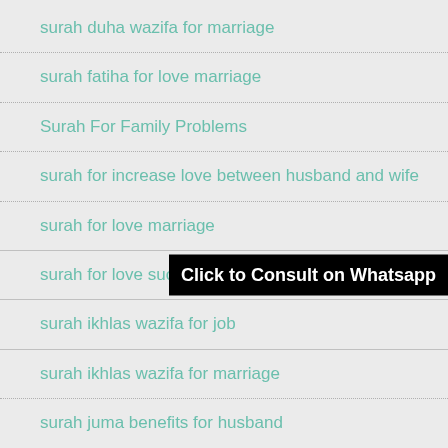surah duha wazifa for marriage
surah fatiha for love marriage
Surah For Family Problems
surah for increase love between husband and wife
surah for love marriage
surah for love success
surah ikhlas wazifa for job
surah ikhlas wazifa for marriage
surah juma benefits for husband
surah maryam for getting pregnant